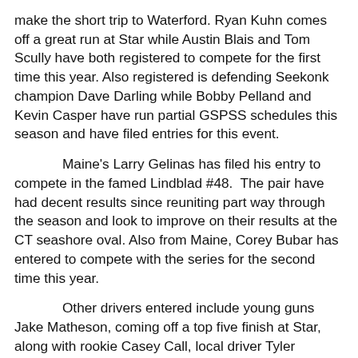make the short trip to Waterford. Ryan Kuhn comes off a great run at Star while Austin Blais and Tom Scully have both registered to compete for the first time this year. Also registered is defending Seekonk champion Dave Darling while Bobby Pelland and Kevin Casper have run partial GSPSS schedules this season and have filed entries for this event.
Maine's Larry Gelinas has filed his entry to compete in the famed Lindblad #48. The pair have had decent results since reuniting part way through the season and look to improve on their results at the CT seashore oval. Also from Maine, Corey Bubar has entered to compete with the series for the second time this year.
Other drivers entered include young guns Jake Matheson, coming off a top five finish at Star, along with rookie Casey Call, local driver Tyler Tomassi and SK Lite standout Alexander Pearl.